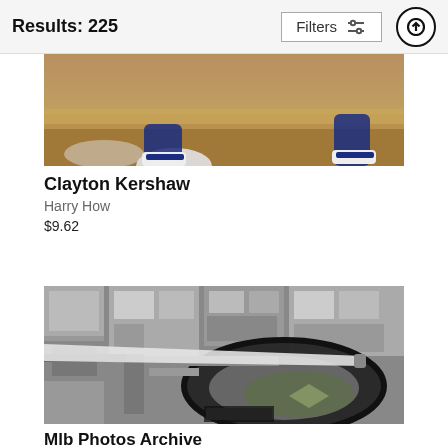Results: 225
[Figure (photo): Partial view of baseball pitcher's legs and cleats on a mound, with sandy infield dirt visible]
Clayton Kershaw
Harry How
$9.62
[Figure (photo): Black and white aerial photograph of a baseball stadium (likely Ebbets Field or similar) surrounded by an urban neighborhood, with a partial view of an airplane wing in the foreground]
Mlb Photos Archive